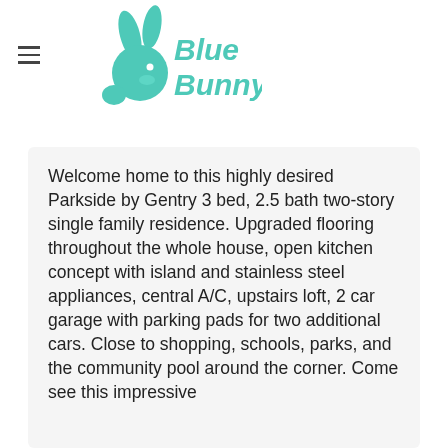Blue Bunny
Welcome home to this highly desired Parkside by Gentry 3 bed, 2.5 bath two-story single family residence. Upgraded flooring throughout the whole house, open kitchen concept with island and stainless steel appliances, central A/C, upstairs loft, 2 car garage with parking pads for two additional cars. Close to shopping, schools, parks, and the community pool around the corner. Come see this impressive